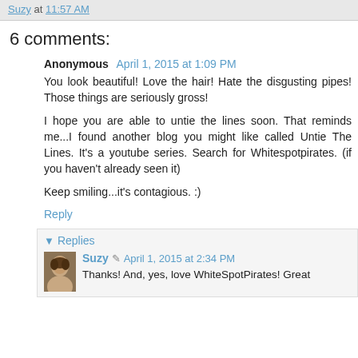Suzy at 11:57 AM
6 comments:
Anonymous April 1, 2015 at 1:09 PM
You look beautiful! Love the hair! Hate the disgusting pipes! Those things are seriously gross!

I hope you are able to untie the lines soon. That reminds me...I found another blog you might like called Untie The Lines. It's a youtube series. Search for Whitespotpirates. (if you haven't already seen it)

Keep smiling...it's contagious. :)
Reply
Replies
Suzy April 1, 2015 at 2:34 PM
Thanks! And, yes, love WhiteSpotPirates! Great